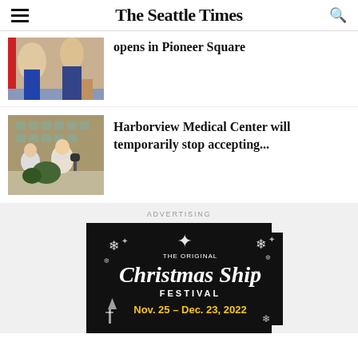The Seattle Times
opens in Pioneer Square
Harborview Medical Center will temporarily stop accepting...
ADVERTISING
[Figure (other): Advertisement for The Original Christmas Ship Festival, Nov. 25 – Dec. 23, 2022, black background with snowflakes and gold/white text]